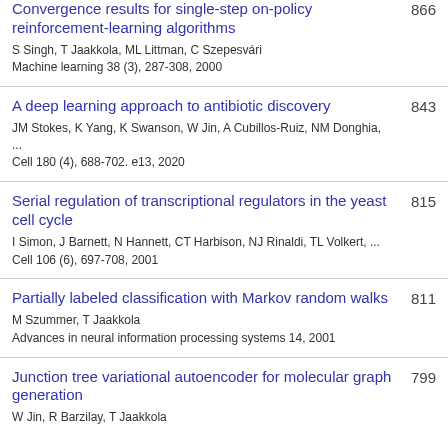Convergence results for single-step on-policy reinforcement-learning algorithms | S Singh, T Jaakkola, ML Littman, C Szepesvári | Machine learning 38 (3), 287-308, 2000 | 866
A deep learning approach to antibiotic discovery | JM Stokes, K Yang, K Swanson, W Jin, A Cubillos-Ruiz, NM Donghia, ... | Cell 180 (4), 688-702. e13, 2020 | 843
Serial regulation of transcriptional regulators in the yeast cell cycle | I Simon, J Barnett, N Hannett, CT Harbison, NJ Rinaldi, TL Volkert, ... | Cell 106 (6), 697-708, 2001 | 815
Partially labeled classification with Markov random walks | M Szummer, T Jaakkola | Advances in neural information processing systems 14, 2001 | 811
Junction tree variational autoencoder for molecular graph generation | W Jin, R Barzilay, T Jaakkola | 799